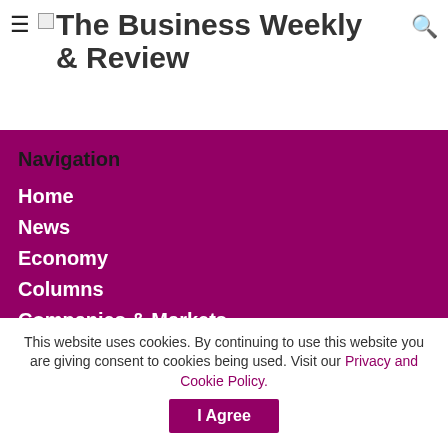The Business Weekly & Review
Navigation
Home
News
Economy
Columns
Companies & Markets
In Business With
Lifestyle
Motoring
This website uses cookies. By continuing to use this website you are giving consent to cookies being used. Visit our Privacy and Cookie Policy.  I Agree